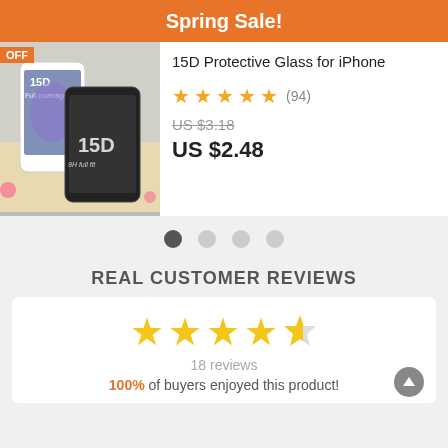Spring Sale!
[Figure (photo): 15D Protective Glass for iPhone product photo showing phone screens with 15D glass protection, labeled 'Full coverage']
15D Protective Glass for iPhone
★★★★★ (94)
US $3.18
US $2.48
REAL CUSTOMER REVIEWS
★★★★½ 18 reviews
100% of buyers enjoyed this product!